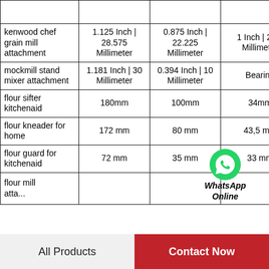| Product | Col2 | Col3 | Col4 | Col5 |
| --- | --- | --- | --- | --- |
| kenwood chef grain mill attachment | 1.125 Inch | 28.575 Millimeter | 0.875 Inch | 22.225 Millimeter | 1 Inch | 25.4 Millimeter | 0.03... |
| mockmill stand mixer attachment | 1.181 Inch | 30 Millimeter | 0.394 Inch | 10 Millimeter | Bearing | - |
| flour sifter kitchenaid | 180mm | 100mm | 34mm | 72.5 |
| flour kneader for home | 172 mm | 80 mm | 43,5 mm | Ste... |
| flour guard for kitchenaid | 72 mm | 35 mm | 33 mm | 43 |
| flour mill attachment... |  |  |  |  |
WhatsApp Online
All Products | Contact Now